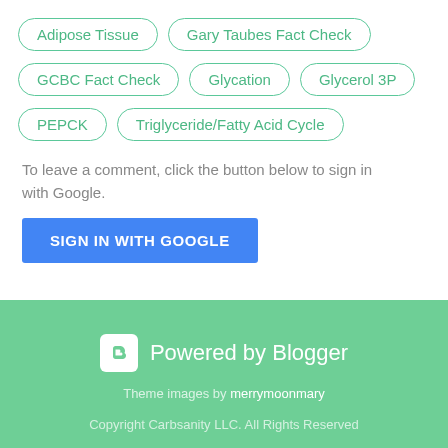Adipose Tissue
Gary Taubes Fact Check
GCBC Fact Check
Glycation
Glycerol 3P
PEPCK
Triglyceride/Fatty Acid Cycle
To leave a comment, click the button below to sign in with Google.
SIGN IN WITH GOOGLE
Powered by Blogger
Theme images by merrymoonmary
Copyright Carbsanity LLC. All Rights Reserved